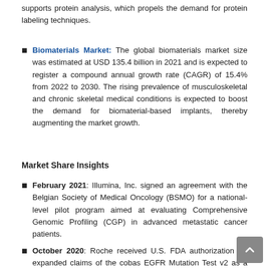supports protein analysis, which propels the demand for protein labeling techniques.
Biomaterials Market: The global biomaterials market size was estimated at USD 135.4 billion in 2021 and is expected to register a compound annual growth rate (CAGR) of 15.4% from 2022 to 2030. The rising prevalence of musculoskeletal and chronic skeletal medical conditions is expected to boost the demand for biomaterial-based implants, thereby augmenting the market growth.
Market Share Insights
February 2021: Illumina, Inc. signed an agreement with the Belgian Society of Medical Oncology (BSMO) for a national-level pilot program aimed at evaluating Comprehensive Genomic Profiling (CGP) in advanced metastatic cancer patients.
October 2020: Roche received U.S. FDA authorization for expanded claims of the cobas EGFR Mutation Test v2 as a (CDx) for the treatment of non-small cell lung cancer (NSCLC).